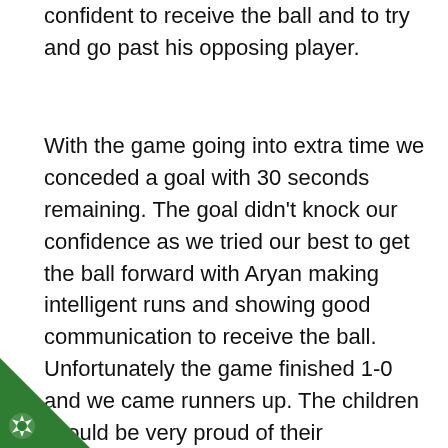confident to receive the ball and to try and go past his opposing player.
With the game going into extra time we conceded a goal with 30 seconds remaining. The goal didn't knock our confidence as we tried our best to get the ball forward with Aryan making intelligent runs and showing good communication to receive the ball. Unfortunately the game finished 1-0 and we came runners up. The children should be very proud of their performances and showed great sportsmanship throughout which was commented  on by School games organiser;
[Figure (illustration): Green triangle badge in the bottom-left corner with a white star/cog icon and the letter C]